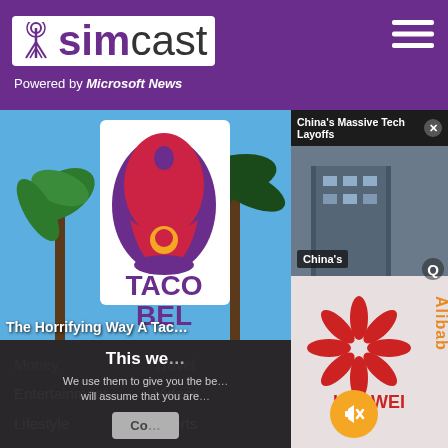[Figure (screenshot): Simcast website header with purple background, logo showing antenna icon and 'simcast' text in white box, 'Powered by Microsoft News' subtitle, and hamburger menu icon on right]
[Figure (photo): Taco Bell sign with purple bell logo against blue sky with palm trees in background]
The Horrifying Way A Tac…
[Figure (screenshot): Popup overlay titled 'China's Massive Tech Layoffs' showing Huawei logo and Alibaba sign, with mute and close buttons]
China's
This we… We use them to give you the be… will assume that you are…
[Figure (screenshot): Cookie consent popup with dark background]
Money   Travel   Contact Us
Entertainment   Videos   Privacy Policy
Lifestyle   Sports   Terms of Use